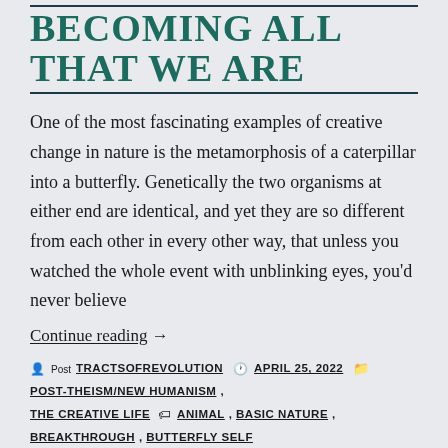BECOMING ALL THAT WE ARE
One of the most fascinating examples of creative change in nature is the metamorphosis of a caterpillar into a butterfly. Genetically the two organisms at either end are identical, and yet they are so different from each other in every other way, that unless you watched the whole event with unblinking eyes, you'd never believe
Continue reading →
Post TRACTSOFREVOLUTION | APRIL 25, 2022 | POST-THEISM/NEW HUMANISM, THE CREATIVE LIFE | ANIMAL, BASIC NATURE, BREAKTHROUGH, BUTTERFLY SELF